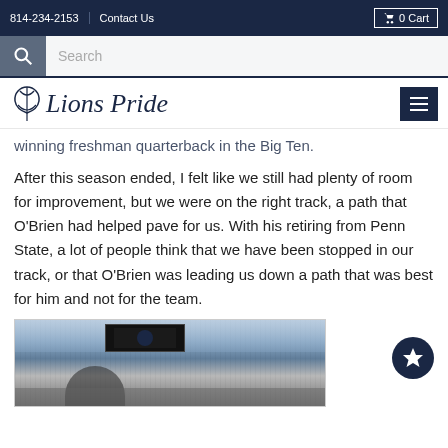814-234-2153   Contact Us   0 Cart
winning freshman quarterback in the Big Ten.
After this season ended, I felt like we still had plenty of room for improvement, but we were on the right track, a path that O'Brien had helped pave for us. With his retiring from Penn State, a lot of people think that we have been stopped in our track, or that O'Brien was leading us down a path that was best for him and not for the team.
[Figure (photo): Stadium crowd photo at what appears to be a Penn State football game, with scoreboard visible in background and a person in foreground]